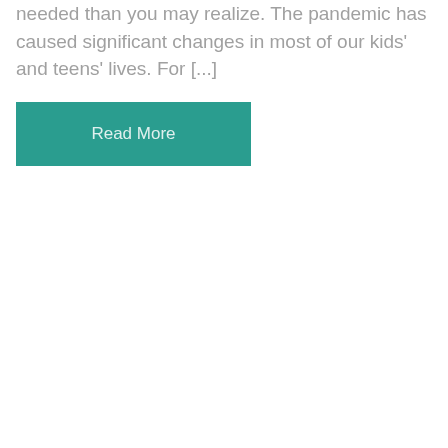needed than you may realize. The pandemic has caused significant changes in most of our kids' and teens' lives. For [...]
Read More